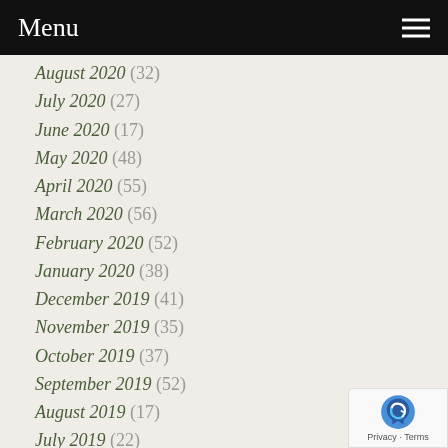Menu
August 2020 (32)
July 2020 (27)
June 2020 (17)
May 2020 (48)
April 2020 (55)
March 2020 (56)
February 2020 (52)
January 2020 (38)
December 2019 (41)
November 2019 (35)
October 2019 (37)
September 2019 (52)
August 2019 (17)
July 2019 (22)
June 2019 (25)
May 2019 (38)
April 2019 (48)
March 2019 (42)
February 2019 (34)